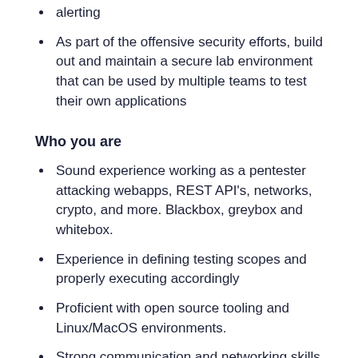alerting
As part of the offensive security efforts, build out and maintain a secure lab environment that can be used by multiple teams to test their own applications
Who you are
Sound experience working as a pentester attacking webapps, REST API's, networks, crypto, and more. Blackbox, greybox and whitebox.
Experience in defining testing scopes and properly executing accordingly
Proficient with open source tooling and Linux/MacOS environments.
Strong communication and networking skills to stay close to the product and development teams.
Demonstrated programming language and scripting